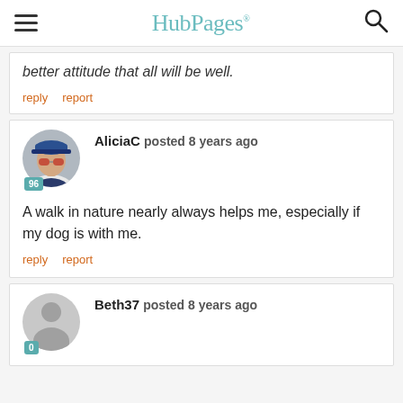HubPages
better attitude that all will be well.
reply   report
AliciaC posted 8 years ago
A walk in nature nearly always helps me, especially if my dog is with me.
reply   report
Beth37 posted 8 years ago